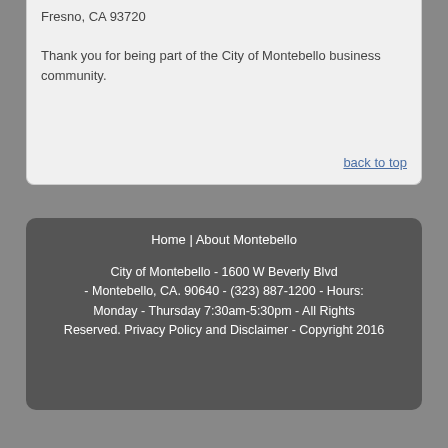Fresno, CA 93720
Thank you for being part of the City of Montebello business community.
back to top
Home | About Montebello

City of Montebello - 1600 W Beverly Blvd - Montebello, CA. 90640 - (323) 887-1200 - Hours: Monday - Thursday 7:30am-5:30pm - All Rights Reserved. Privacy Policy and Disclaimer - Copyright 2016